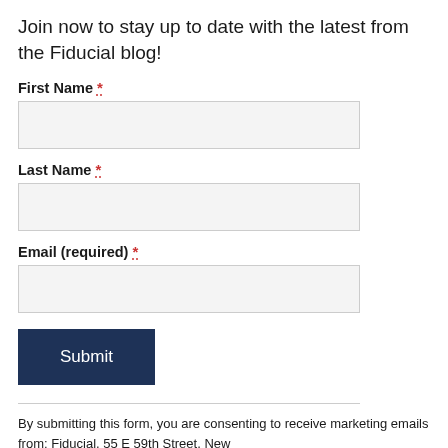Join now to stay up to date with the latest from the Fiducial blog!
First Name *
Last Name *
Email (required) *
Submit
By submitting this form, you are consenting to receive marketing emails from: Fiducial, 55 E 59th Street, New